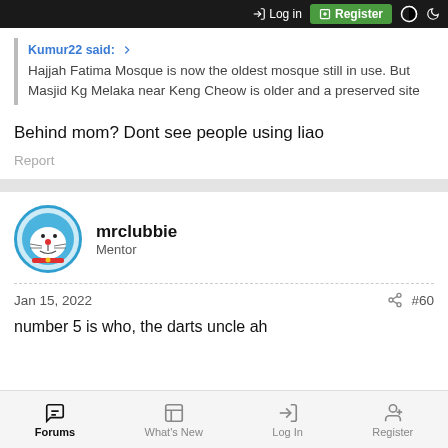Log in | Register
Kumur22 said: ↑
Hajjah Fatima Mosque is now the oldest mosque still in use. But Masjid Kg Melaka near Keng Cheow is older and a preserved site
Behind mom? Dont see people using liao
Report
mrclubbie
Mentor
Jan 15, 2022  #60
number 5 is who, the darts uncle ah
Forums  What's New  Log In  Register